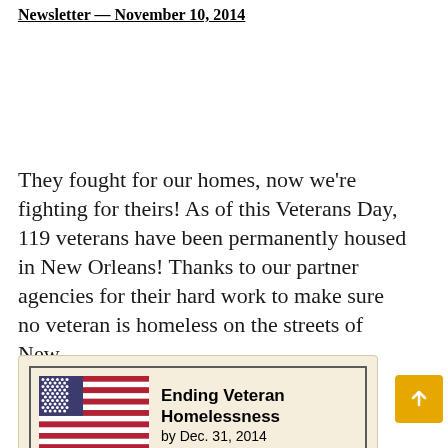Newsletter — November 10, 2014
They fought for our homes, now we're fighting for theirs! As of this Veterans Day, 119 veterans have been permanently housed in New Orleans! Thanks to our partner agencies for their hard work to make sure no veteran is homeless on the streets of New...
[Figure (infographic): Card with American flag and text 'Ending Veteran Homelessness by Dec. 31, 2014' on a tan/beige background with caption 'We are working with Mayor Landrieu and the VA to make New Orleans the first city to end veteran homelessness!']